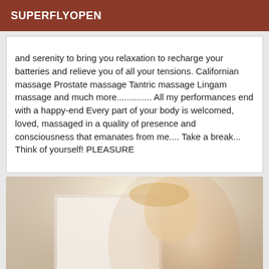SUPERFLYOPEN
and serenity to bring you relaxation to recharge your batteries and relieve you of all your tensions. Californian massage Prostate massage Tantric massage Lingam massage and much more.............. All my performances end with a happy-end Every part of your body is welcomed, loved, massaged in a quality of presence and consciousness that emanates from me.... Take a break... Think of yourself! PLEASURE
[Figure (photo): Photograph of a blonde woman in an indoor setting, posing with hand near face, bright backlit room with furniture visible in background.]